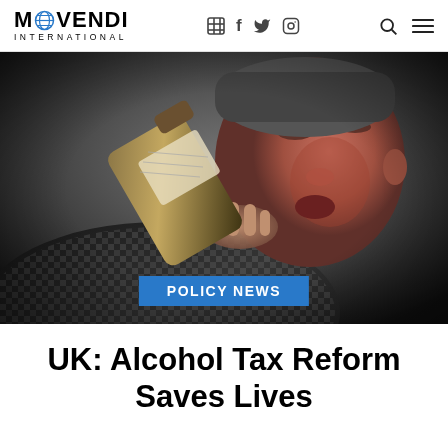MOVENDI INTERNATIONAL
[Figure (photo): A man drinking from a bottle, photographed in black and white, reddish tone on face]
POLICY NEWS
UK: Alcohol Tax Reform Saves Lives